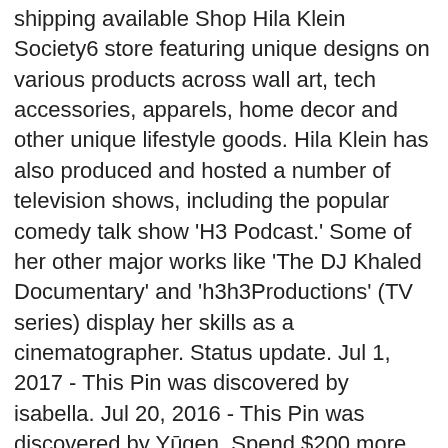shipping available Shop Hila Klein Society6 store featuring unique designs on various products across wall art, tech accessories, apparels, home decor and other unique lifestyle goods. Hila Klein has also produced and hosted a number of television shows, including the popular comedy talk show 'H3 Podcast.' Some of her other major works like 'The DJ Khaled Documentary' and 'h3h3Productions' (TV series) display her skills as a cinematographer. Status update. Jul 1, 2017 - This Pin was discovered by isabella. Jul 20, 2016 - This Pin was discovered by Yūgen. Spend $200 more and get free shipping within the U.S! She runs the channel along with her husband, Ethan. Hila Klein: Art, Net Worth, Height, Clothing, Pregnant, Baby, Husband. She is also the CEO of an online clothing brand named 'Teddy Fresh. Printed on 100% cotton watercolour textured paper, Art Prints would be at home in any gallery. Hila Klein is an Israeli-American social media star, best known for her YouTube channel, which she operates along with her husband, Ethan. 0. To connect with Hila Klein, join Facebook today. She is best known for her comic and prank